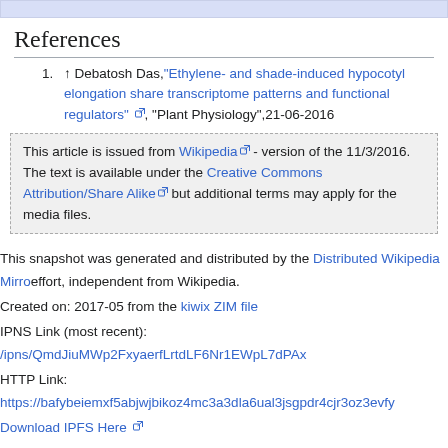References
↑ Debatosh Das,"Ethylene- and shade-induced hypocotyl elongation share transcriptome patterns and functional regulators" [link], "Plant Physiology",21-06-2016
This article is issued from Wikipedia [link] - version of the 11/3/2016. The text is available under the Creative Commons Attribution/Share Alike [link] but additional terms may apply for the media files.
This snapshot was generated and distributed by the Distributed Wikipedia Mirro effort, independent from Wikipedia.
Created on: 2017-05 from the kiwix ZIM file
IPNS Link (most recent): /ipns/QmdJiuMWp2FxyaerfLrtdLF6Nr1EWpL7dPAx
HTTP Link: https://bafybeiemxf5abjwjbikoz4mc3a3dla6ual3jsgpdr4cjr3oz3evfy
Download IPFS Here [link]